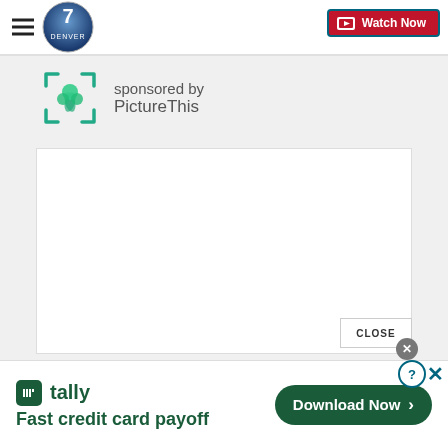[Figure (screenshot): Denver7 news website navigation bar with hamburger menu, Denver7 logo, and Watch Now button]
sponsored by PictureThis
[Figure (screenshot): White content area (ad placeholder) with CLOSE button]
[Figure (screenshot): Bottom ad banner: Tally - Fast credit card payoff with Download Now button and close/help controls]